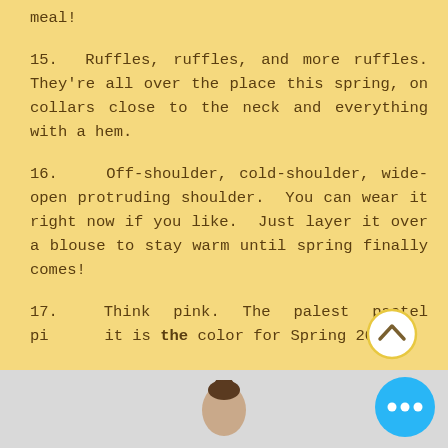meal!
15.  Ruffles, ruffles, and more ruffles. They're all over the place this spring, on collars close to the neck and everything with a hem.
16.   Off-shoulder, cold-shoulder, wide-open protruding shoulder.  You can wear it right now if you like.  Just layer it over a blouse to stay warm until spring finally comes!
17.  Think pink. The palest pastel pink is the color for Spring 2017.
[Figure (illustration): Navigation up-arrow button circle with yellow border]
[Figure (illustration): Blue circle button with three white dots (more options)]
[Figure (photo): Person's head visible at bottom of page against grey background]